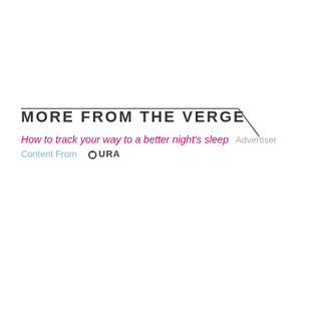MORE FROM THE VERGE
How to track your way to a better night's sleep  Advertiser Content From  OURA